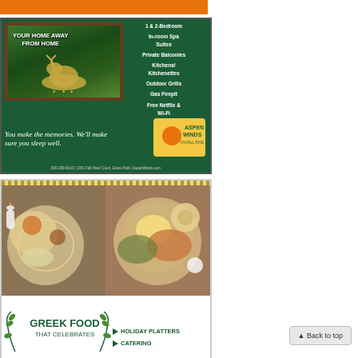[Figure (photo): Orange advertisement banner at top]
[Figure (photo): Aspen Winds lodging advertisement with elk photo and text: YOUR HOME AWAY FROM HOME. Features: 1 & 2-Bedroom, In-room Spa Suites, Private Balconies, Kitchens/Kitchenettes, Outdoor Grills, Gas Firepit, Free Netflix & Wi-Fi. Tagline: You make the memories. We'll make sure you sleep well. Logo: Aspen Winds on Fall River. Contact: 800-389-6010 | 1051 Fall River Court, Estes Park | AspenWinds.com]
[Figure (photo): Greek food restaurant advertisement featuring food photography, text: GREEK FOOD THAT CELEBRATES, with menu items: HOLIDAY PLATTERS, CATERING]